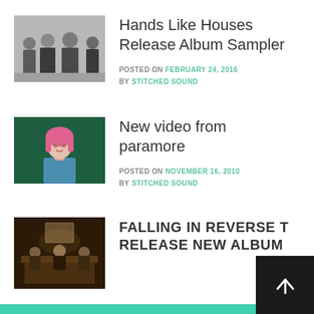[Figure (photo): Black and white photo of four band members standing outside]
Hands Like Houses Release Album Sampler
POSTED ON FEBRUARY 24, 2016 BY STITCHED SOUND
[Figure (photo): Woman with pink hair against green background]
New video from paramore
POSTED ON NOVEMBER 16, 2010 BY STITCHED SOUND
[Figure (photo): Dark scene with people around a table]
FALLING IN REVERSE TO RELEASE NEW ALBUM